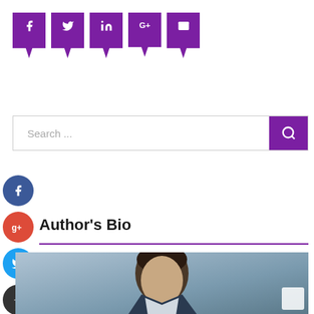[Figure (infographic): Social share buttons bar with purple speech-bubble style icons for Facebook, Twitter, LinkedIn, Google+, and Email]
[Figure (screenshot): Search bar with placeholder text 'Search ...' and a purple search button with magnifying glass icon]
[Figure (infographic): Floating social media sharing sidebar with circular icons for Facebook (blue), Google+ (red), Twitter (light blue), and a dark plus/add button]
Author's Bio
[Figure (photo): Headshot photo of a middle-aged man with dark hair, wearing a suit, against a grey/blue background]